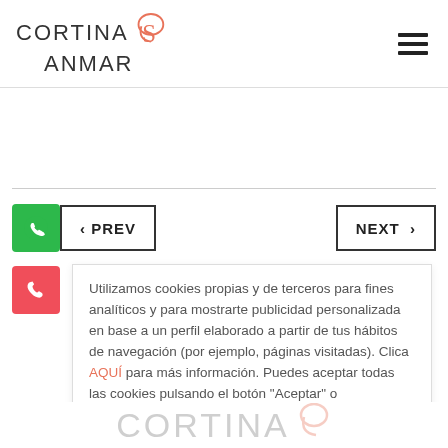[Figure (logo): Cortinas Sanmar logo with stylized S circle in pink/salmon color, text in dark gray]
[Figure (other): Hamburger menu icon (three horizontal lines) in top right corner]
[Figure (other): PREV navigation button with green WhatsApp icon on left]
[Figure (other): NEXT navigation button with arrow on right]
[Figure (other): Red phone icon button on left side]
Utilizamos cookies propias y de terceros para fines analíticos y para mostrarte publicidad personalizada en base a un perfil elaborado a partir de tus hábitos de navegación (por ejemplo, páginas visitadas). Clica AQUÍ para más información. Puedes aceptar todas las cookies pulsando el botón "Aceptar" o configurarlas o rechazar su uso
[Figure (logo): Partial Cortinas Sanmar logo visible at bottom of page]